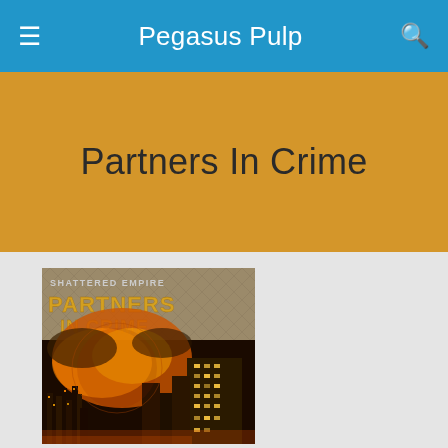Pegasus Pulp
Partners In Crime
[Figure (illustration): Book cover for 'Shattered Empire: Partners In Crime' showing a sci-fi city scene with orange fire/explosion in the sky, dark futuristic cityscape, and stylized gold text reading SHATTERED EMPIRE and PARTNERS IN CRIME on a metallic diamond-plate background top portion]